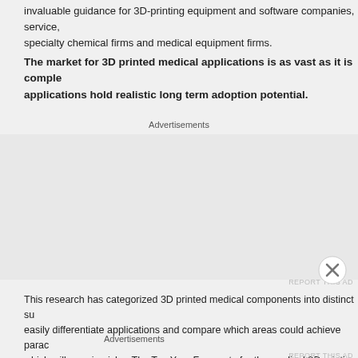invaluable guidance for 3D-printing equipment and software companies, specialty chemical firms and medical equipment firms.
The market for 3D printed medical applications is as vast as it is complex. Only select applications hold realistic long term adoption potential.
Advertisements
REPORT THIS AD
This research has categorized 3D printed medical components into distinct subcategories to easily differentiate applications and compare which areas could achieve paradigm change and which will remain niche. The Ten Year Forecasts for the medical 3D printing market include data specific both to 3D printing suppliers detailing printers by technology, materials, and software, but also includes values for a wide variety of specific medical applications including various implants, surgical tools, guides, medical models, medical devices, equipment prototypes, and more.
Actionable intelligence is presented in a way that encompasses both the 3D printing and the global medical industry in order to help readers plan businesses again
Advertisements
REPORT THIS AD